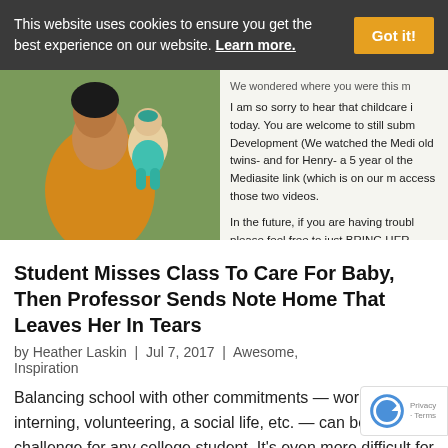This website uses cookies to ensure you get the best experience on our website. Learn more.
[Figure (photo): Left: woman holding a baby in teal outfit outdoors. Right: partial screenshot of a letter/email text about childcare and a professor's offer to hold baby during class.]
Student Misses Class To Care For Baby, Then Professor Sends Note Home That Leaves Her In Tears
by Heather Laskin  |  Jul 7, 2017  |  Awesome, Inspiration
Balancing school with other commitments — work, interning, volunteering, a social life, etc. — can be a challenge for any college student. It's even more difficult for students who are also parents. The